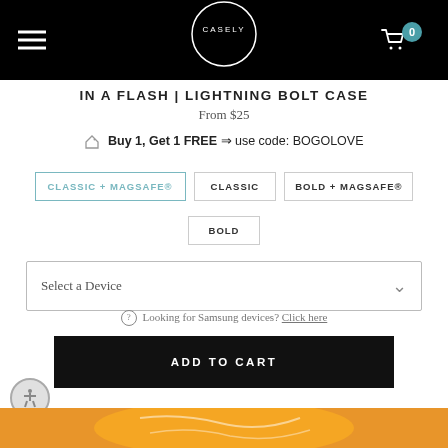CASELY — menu and cart navigation
IN A FLASH | LIGHTNING BOLT CASE
From $25
Buy 1, Get 1 FREE ⇒ use code: BOGOLOVE
CLASSIC + MAGSAFE® (selected)
CLASSIC
BOLD + MAGSAFE®
BOLD
Select a Device
Looking for Samsung devices? Click here
ADD TO CART
[Figure (photo): Bottom slice of a phone case product image showing an orange/yellow lightning bolt case design]